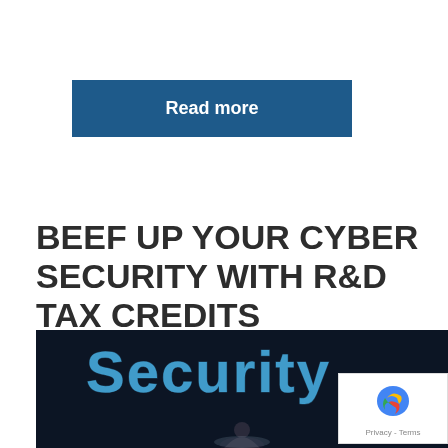Read more
BEEF UP YOUR CYBER SECURITY WITH R&D TAX CREDITS
[Figure (photo): Dark background image with glowing blue 'Security' text and a person's silhouette illuminated by a screen below, representing cyber security theme.]